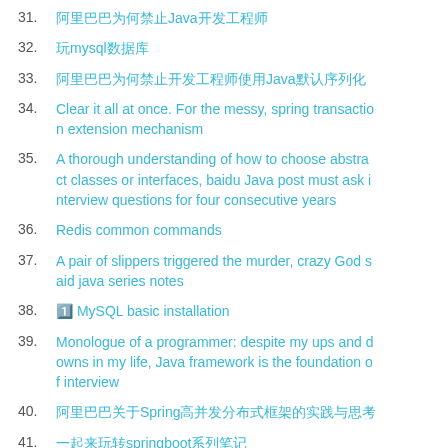31. 阿里巴巴为何禁止Java开发工程师
32. 玩mysql数据库
33. 阿里巴巴为何禁止开发工程师使用Java默认序列化
34. Clear it all at once. For the messy, spring transaction extension mechanism
35. A thorough understanding of how to choose abstract classes or interfaces, baidu Java post must ask interview questions for four consecutive years
36. Redis common commands
37. A pair of slippers triggered the murder, crazy God said java series notes
38. 1️ MySQL basic installation
39. Monologue of a programmer: despite my ups and downs in my life, Java framework is the foundation of interview
40. 阿里巴巴关于Spring高并发分布式框架的实践与思考
41. 一起来玩转springboot系列笔记